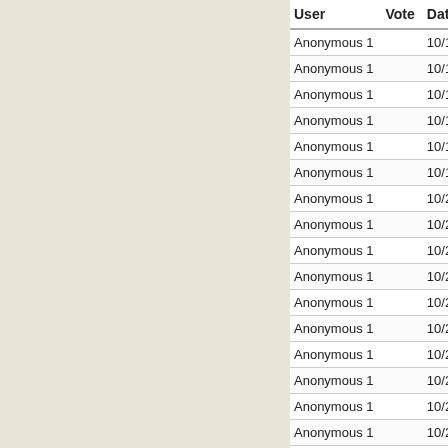| User | Vote | Date |
| --- | --- | --- |
| Anonymous 1 |  | 10/18/2019 - 0 |
| Anonymous 1 |  | 10/18/2019 - 0 |
| Anonymous 1 |  | 10/18/2019 - 2 |
| Anonymous 1 |  | 10/19/2019 - 0 |
| Anonymous 1 |  | 10/19/2019 - 0 |
| Anonymous 1 |  | 10/19/2019 - 1 |
| Anonymous 1 |  | 10/20/2019 - 0 |
| Anonymous 1 |  | 10/20/2019 - 0 |
| Anonymous 1 |  | 10/21/2019 - 2 |
| Anonymous 1 |  | 10/22/2019 - 0 |
| Anonymous 1 |  | 10/23/2019 - 1 |
| Anonymous 1 |  | 10/24/2019 - 0 |
| Anonymous 1 |  | 10/25/2019 - 0 |
| Anonymous 1 |  | 10/25/2019 - 1 |
| Anonymous 1 |  | 10/25/2019 - 2 |
| Anonymous 1 |  | 10/25/2019 - 2 |
| Anonymous 1 |  | 10/25/2019 - 2 |
| Anonymous 1 |  | 10/25/2019 - 2 |